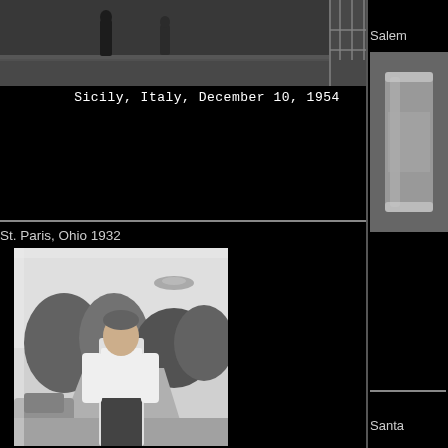[Figure (photo): Black and white photograph showing people on a street or walkway, Sicily, Italy, December 10, 1954]
Sicily, Italy, December 10, 1954
St. Paris, Ohio 1932
[Figure (photo): Black and white photograph of a man standing outdoors near a car with trees in the background; a disc-shaped object (UFO) visible in the sky, St. Paris, Ohio 1932]
Salem
[Figure (photo): Black and white photograph of an object, Salem]
Santa